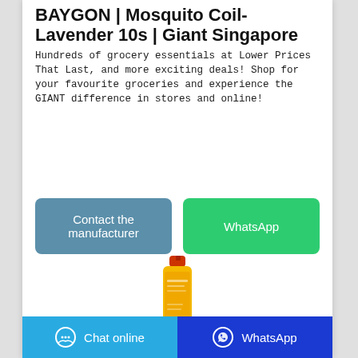BAYGON | Mosquito Coil-Lavender 10s | Giant Singapore
Hundreds of grocery essentials at Lower Prices That Last, and more exciting deals! Shop for your favourite groceries and experience the GIANT difference in stores and online!
[Figure (screenshot): Contact the manufacturer button (blue/teal) and WhatsApp button (green)]
[Figure (photo): Yellow spray can product bottle with orange cap]
Chat online | WhatsApp